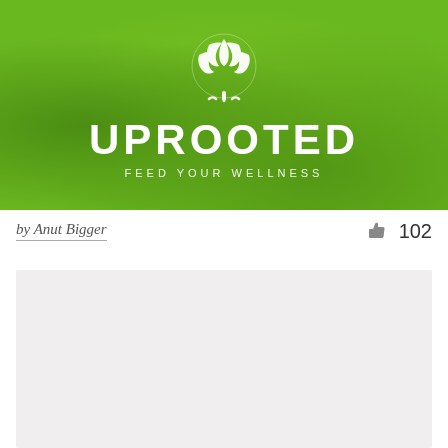[Figure (logo): Uprooted brand logo on green leafy background. White tree/leaf icon above text 'UPROOTED' in large white bold letters, with tagline 'FEED YOUR WELLNESS' below in smaller white spaced letters.]
by Anut Bigger
102
[Figure (photo): Light gray rectangular placeholder image area.]